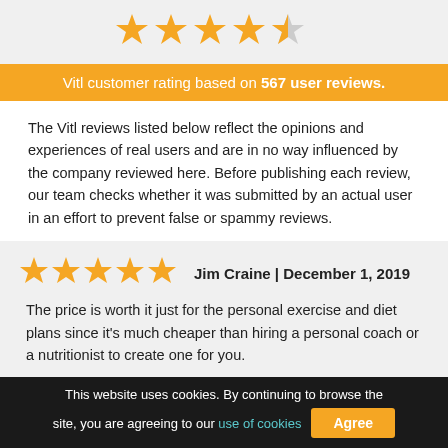[Figure (other): Star rating display showing 4 out of 5 stars (4 orange stars, 1 half/grey star) for overall Vitl customer rating]
Vitl customer rating based on 567 user reviews.
The Vitl reviews listed below reflect the opinions and experiences of real users and are in no way influenced by the company reviewed here. Before publishing each review, our team checks whether it was submitted by an actual user in an effort to prevent false or spammy reviews.
Jim Craine | December 1, 2019
The price is worth it just for the personal exercise and diet plans since it's much cheaper than hiring a personal coach or a nutritionist to create one for you.
This website uses cookies. By continuing to browse the site, you are agreeing to our use of cookies  Agree